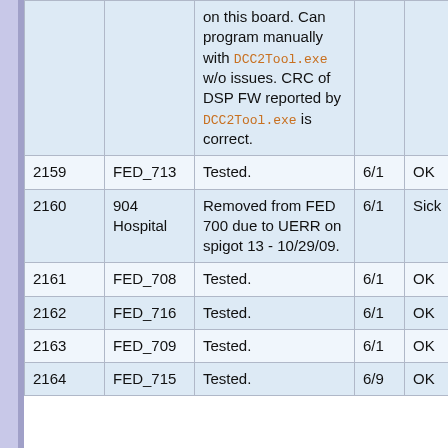|  |  |  |  |  |
| --- | --- | --- | --- | --- |
|  |  | on this board. Can program manually with DCC2Tool.exe w/o issues. CRC of DSP FW reported by DCC2Tool.exe is correct. |  |  |
| 2159 | FED_713 | Tested. | 6/1 | OK |
| 2160 | 904 Hospital | Removed from FED 700 due to UERR on spigot 13 - 10/29/09. | 6/1 | Sick |
| 2161 | FED_708 | Tested. | 6/1 | OK |
| 2162 | FED_716 | Tested. | 6/1 | OK |
| 2163 | FED_709 | Tested. | 6/1 | OK |
| 2164 | FED_715 | Tested. | 6/9 | OK |